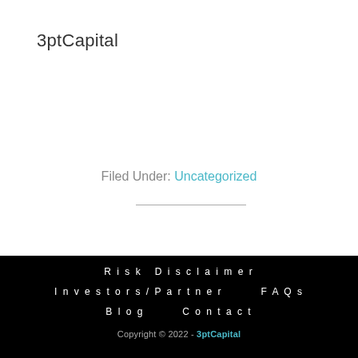3ptCapital
Filed Under: Uncategorized
Risk Disclaimer   Investors/Partner   FAQs   Blog   Contact
Copyright © 2022 - 3ptCapital